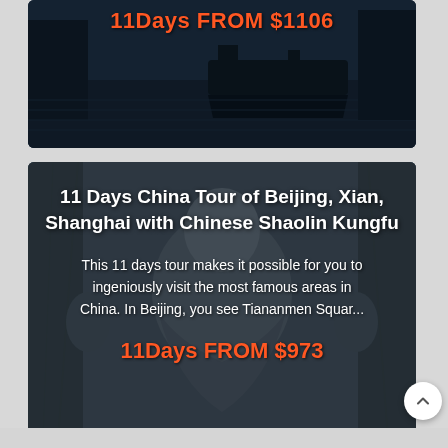[Figure (photo): Top card showing a Chinese water canal with a dark boat, dimly lit scene. Overlaid with orange price text '11Days FROM $1106'.]
11Days FROM $1106
[Figure (photo): Large card showing a carved stone Buddha statue (likely Longmen Grottoes or similar). Text overlay includes tour title and description.]
11 Days China Tour of Beijing, Xian, Shanghai with Chinese Shaolin Kungfu
This 11 days tour makes it possible for you to ingeniously visit the most famous areas in China. In Beijing, you see Tiananmen Squar...
11Days FROM $973